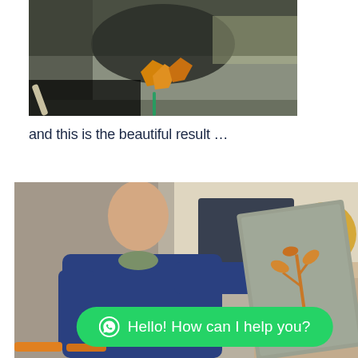[Figure (photo): Close-up photo of an artisan working on a stone/marble surface with chisel and hammer, showing orange material being inlaid into dark stone]
and this is the beautiful result …
[Figure (photo): Elderly craftsman in blue work coat holding up a large stone slab with an inlaid floral design in orange/gold, workshop background]
Hello! How can I help you?